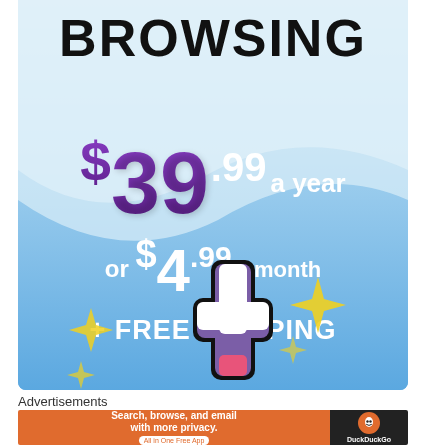[Figure (infographic): Advertisement banner with light blue gradient background. Large bold black text 'BROWSING' at top. Purple gradient price '$39.99 a year' prominently displayed. White text 'or $4.99 a month' below. White bold text '+ FREE SHIPPING'. Decorative Tumblr-style plus icon with sparkles at bottom.]
Advertisements
[Figure (infographic): DuckDuckGo advertisement banner. Orange left section with text 'Search, browse, and email with more privacy. All in One Free App'. Dark right section with DuckDuckGo duck logo and brand name.]